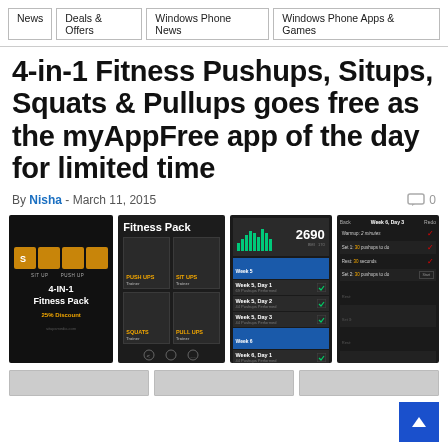News | Deals & Offers | Windows Phone News | Windows Phone Apps & Games
4-in-1 Fitness Pushups, Situps, Squats & Pullups goes free as the myAppFree app of the day for limited time
By Nisha - March 11, 2015
[Figure (screenshot): Four smartphone screenshots of the 4-in-1 Fitness Pack app showing app icon, fitness pack menu, workout tracker, and daily workout plan screens]
[Figure (screenshot): Partial bottom row of additional app screenshots]